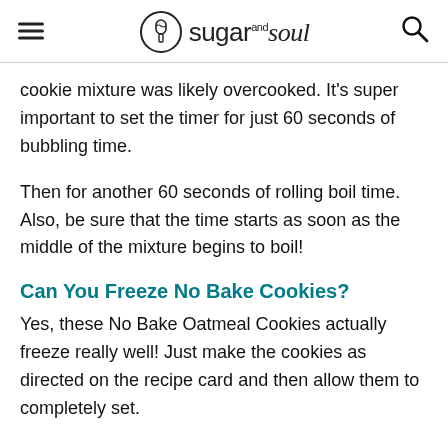sugar and soul
cookie mixture was likely overcooked. It's super important to set the timer for just 60 seconds of bubbling time.
Then for another 60 seconds of rolling boil time. Also, be sure that the time starts as soon as the middle of the mixture begins to boil!
Can You Freeze No Bake Cookies?
Yes, these No Bake Oatmeal Cookies actually freeze really well! Just make the cookies as directed on the recipe card and then allow them to completely set.